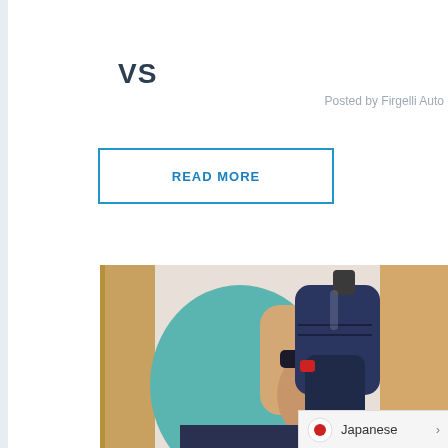VS
Posted by Firgelli Auto
READ MORE
[Figure (photo): Person holding a Bosch cordless drill near a wooden surface, wearing a teal shirt with a dark wristband]
Japanese